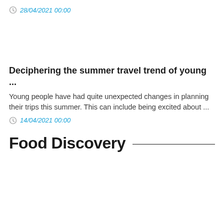28/04/2021 00:00
Deciphering the summer travel trend of young ...
Young people have had quite unexpected changes in planning their trips this summer. This can include being excited about ...
14/04/2021 00:00
Food Discovery